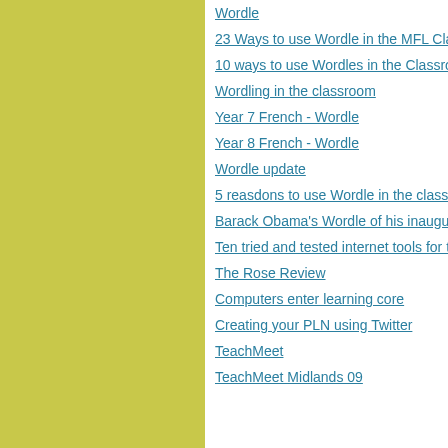Wordle
23 Ways to use Wordle in the MFL Class...
10 ways to use Wordles in the Classroom...
Wordling in the classroom
Year 7 French - Wordle
Year 8 French - Wordle
Wordle update
5 reasdons to use Wordle in the classroo...
Barack Obama's Wordle of his inaugurat...
Ten tried and tested internet tools for tea...
The Rose Review
Computers enter learning core
Creating your PLN using Twitter
TeachMeet
TeachMeet Midlands 09